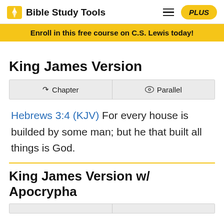Bible Study Tools
Enroll in this free course on C.S. Lewis today!
King James Version
Chapter | Parallel
Hebrews 3:4 (KJV) For every house is builded by some man; but he that built all things is God.
King James Version w/ Apocrypha